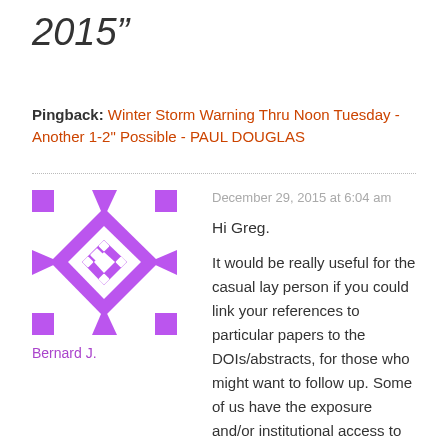2015”
Pingback: Winter Storm Warning Thru Noon Tuesday - Another 1-2" Possible - PAUL DOUGLAS
[Figure (illustration): Purple geometric avatar icon with diamond/square pattern]
Bernard J.
December 29, 2015 at 6:04 am
Hi Greg.
It would be really useful for the casual lay person if you could link your references to particular papers to the DOIs/abstracts, for those who might want to follow up. Some of us have the exposure and/or institutional access to find them easily, but Joe and Jane Public might have a little more trouble...